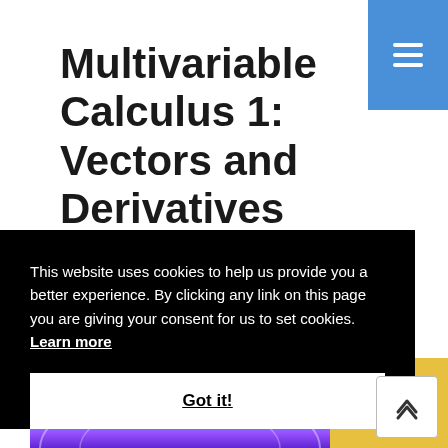Multivariable Calculus 1: Vectors and Derivatives (edX)
This website uses cookies to help us provide you a better experience. By clicking any link on this page you are giving your consent for us to set cookies.  Learn more
Got it!